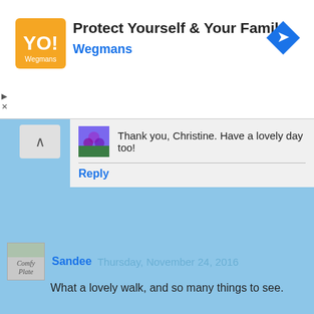[Figure (screenshot): Advertisement banner for Wegmans 'Protect Yourself & Your Family' with orange logo, ad text, and navigation arrow icon]
Thank you, Christine. Have a lovely day too!
Reply
Sandee  Thursday, November 24, 2016
What a lovely walk, and so many things to see.
Have a fabulous day Nancy. ☺
Reply
▾ Replies
Nancy Chan  Friday, November 25, 2016
Thank you, Sandee. Have a great day!